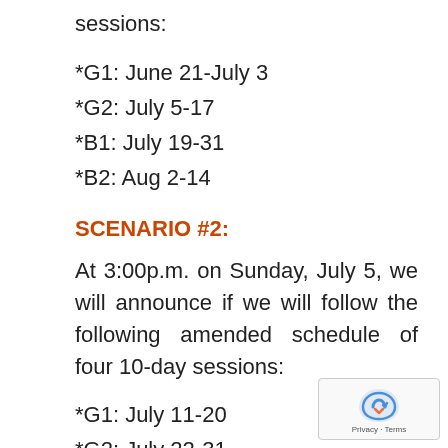sessions:
*G1: June 21-July 3
*G2: July 5-17
*B1: July 19-31
*B2: Aug 2-14
SCENARIO #2:
At 3:00p.m. on Sunday, July 5, we will announce if we will follow the following amended schedule of four 10-day sessions:
*G1: July 11-20
*G2: July 22-31
*B1: Aug 2-11
*B2: Aug 13-22